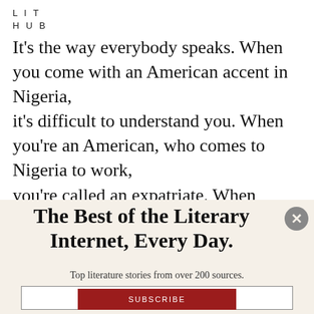LIT
HUB
It's the way everybody speaks. When you come with an American accent in Nigeria, it's difficult to understand you. When you're an American, who comes to Nigeria to work, you're called an expatriate. When you're a Nigerian who comes to the States to work, you're called a migrant. You're the same thing
The Best of the Literary Internet, Every Day.
Top literature stories from over 200 sources.
SUBSCRIBE